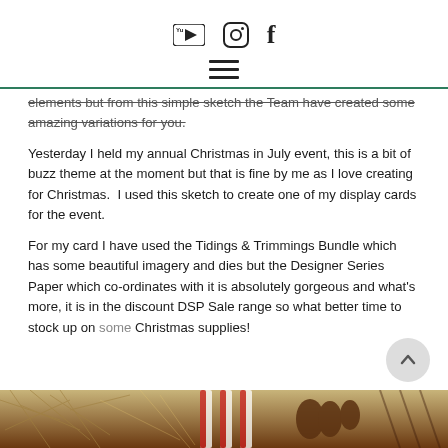[YouTube icon] [Instagram icon] f
elements but from this simple sketch the Team have created some amazing variations for you.
Yesterday I held my annual Christmas in July event, this is a bit of buzz theme at the moment but that is fine by me as I love creating for Christmas.  I used this sketch to create one of my display cards for the event.
For my card I have used the Tidings & Trimmings Bundle which has some beautiful imagery and dies but the Designer Series Paper which co-ordinates with it is absolutely gorgeous and what's more, it is in the discount DSP Sale range so what better time to stock up on some Christmas supplies!
[Figure (photo): Bottom strip showing Christmas decorations - pine needles, pinecones, candy canes in warm brown tones]